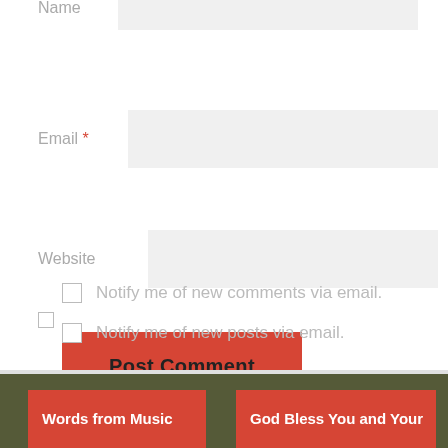Name
Email *
Website
Post Comment
Notify me of new comments via email.
Notify me of new posts via email.
Words from Music
God Bless You and Your